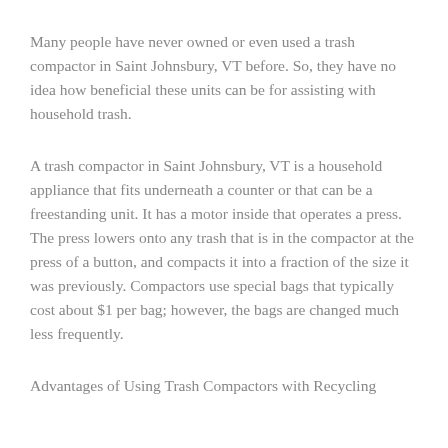Many people have never owned or even used a trash compactor in Saint Johnsbury, VT before. So, they have no idea how beneficial these units can be for assisting with household trash.
A trash compactor in Saint Johnsbury, VT is a household appliance that fits underneath a counter or that can be a freestanding unit. It has a motor inside that operates a press. The press lowers onto any trash that is in the compactor at the press of a button, and compacts it into a fraction of the size it was previously. Compactors use special bags that typically cost about $1 per bag; however, the bags are changed much less frequently.
Advantages of Using Trash Compactors with Recycling